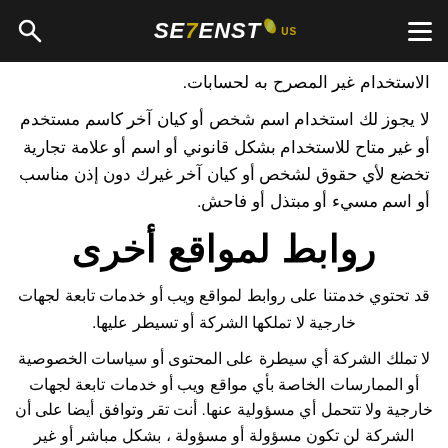SE7ENST
الاستخدام غير المصرح به لحسابات.
لا يجوز لك استخدام اسم شخص أو كيان آخر كاسم مستخدم أو غير متاح للاستخدام بشكل قانوني أو اسم أو علامة تجارية تخضع لأي حقوق لشخص أو كيان آخر غيرك دون إذن مناسب أو اسم مسيء أو مبتذل أو فاحش.
روابط لمواقع أخرى
قد تحتوي خدمتنا على روابط لمواقع ويب أو خدمات تابعة لجهات خارجية لا تملكها الشركة أو تسيطر عليها.
لا تملك الشركة أي سيطرة على المحتوى أو سياسات الخصوصية أو الممارسات الخاصة بأي مواقع ويب أو خدمات تابعة لجهات خارجية ولا تتحمل أي مسؤولية عنها. أنت تقر وتوافق أيضا على أن الشركة لن تكون مسؤولة أو مسؤولة ، بشكل مباشر أو غير مباشر عن أي ضرر أو خسارة ناجمة أو